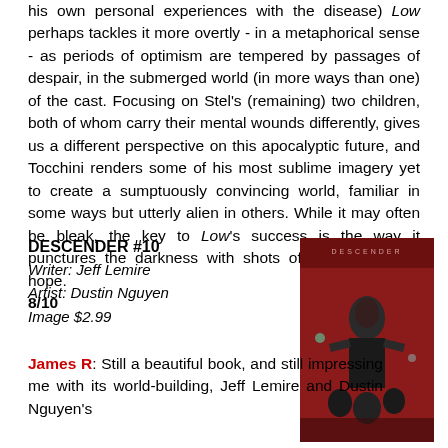his own personal experiences with the disease) Low perhaps tackles it more overtly - in a metaphorical sense - as periods of optimism are tempered by passages of despair, in the submerged world (in more ways than one) of the cast. Focusing on Stel's (remaining) two children, both of whom carry their mental wounds differently, gives us a different perspective on this apocalyptic future, and Tocchini renders some of his most sublime imagery yet to create a sumptuously convincing world, familiar in some ways but utterly alien in others. While it may often be bleak, the key to Low's success is the way it punctures the darkness with shots of bright, inspiring hope. 8/10
DESCENDER #10
Writer: Jeff Lemire
Artist: Dustin Nguyen
Image $2.99
[Figure (illustration): Comic book cover for Descender #10 featuring a figure in red and dark tones with dramatic composition]
James R: Still a beautiful book, and still impressing me with its world-building, Jeff Lemire and Dustin Nguyen's